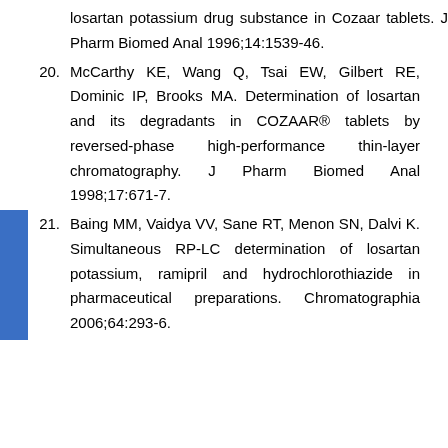losartan potassium drug substance in Cozaar tablets. J Pharm Biomed Anal 1996;14:1539-46.
20. McCarthy KE, Wang Q, Tsai EW, Gilbert RE, Dominic IP, Brooks MA. Determination of losartan and its degradants in COZAAR® tablets by reversed-phase high-performance thin-layer chromatography. J Pharm Biomed Anal 1998;17:671-7.
21. Baing MM, Vaidya VV, Sane RT, Menon SN, Dalvi K. Simultaneous RP-LC determination of losartan potassium, ramipril and hydrochlorothiazide in pharmaceutical preparations. Chromatographia 2006;64:293-6.